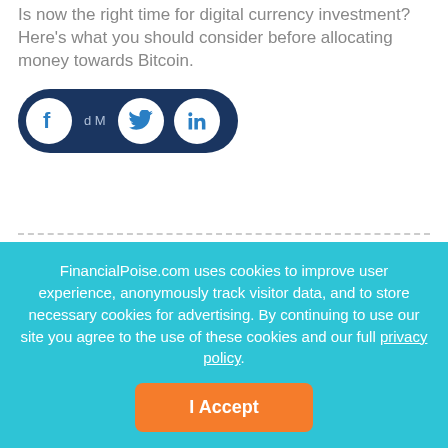Is now the right time for digital currency investment? Here's what you should consider before allocating money towards Bitcoin.
[Figure (other): Social sharing buttons bar with Facebook, Twitter, and LinkedIn icons on a dark navy pill-shaped background]
FinancialPoise.com uses cookies to improve user experience, anonymously track visitor data, and to store necessary cookies for advertising. By continuing to use our site you agree to the use of these cookies and our full privacy policy.
I Accept